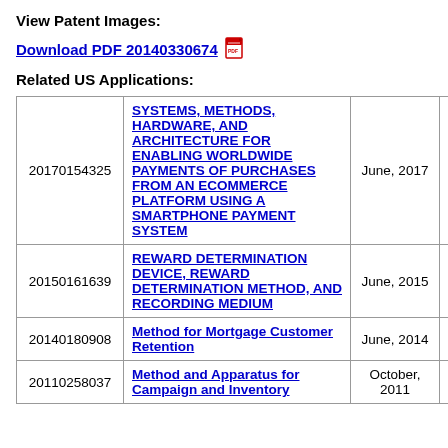View Patent Images:
Download PDF 20140330674
Related US Applications:
|  |  |  |  |
| --- | --- | --- | --- |
| 20170154325 | SYSTEMS, METHODS, HARDWARE, AND ARCHITECTURE FOR ENABLING WORLDWIDE PAYMENTS OF PURCHASES FROM AN ECOMMERCE PLATFORM USING A SMARTPHONE PAYMENT SYSTEM | June, 2017 | Donovan et al. |
| 20150161639 | REWARD DETERMINATION DEVICE, REWARD DETERMINATION METHOD, AND RECORDING MEDIUM | June, 2015 | Ogita et al. |
| 20140180908 | Method for Mortgage Customer Retention | June, 2014 | Allen et al. |
| 20110258037 | Method and Apparatus for Campaign and Inventory | October, 2011 | Ioffe et al. |